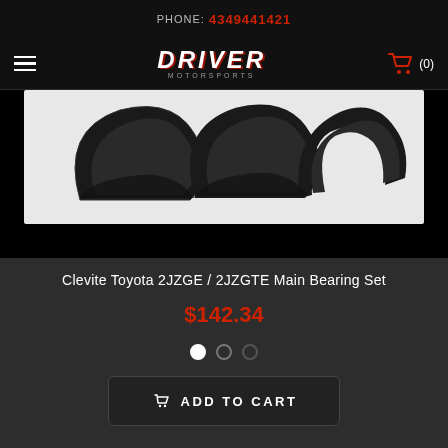PHONE: 4349441421
[Figure (logo): Driver Motorsports logo with hamburger menu and shopping cart icon showing (0) items]
[Figure (photo): Clevite main bearing set - multiple black crescent-shaped engine bearing pieces arranged on white background]
Clevite Toyota 2JZGE / 2JZGTE Main Bearing Set
$142.34
ADD TO CART